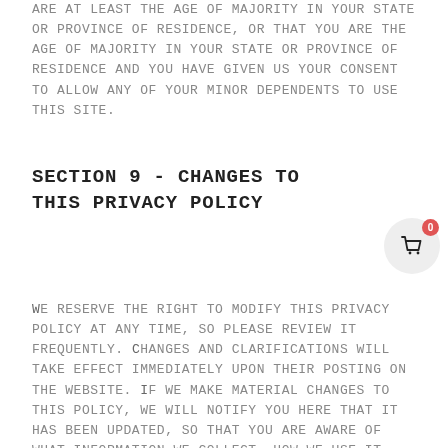ARE AT LEAST THE AGE OF MAJORITY IN YOUR STATE OR PROVINCE OF RESIDENCE, OR THAT YOU ARE THE AGE OF MAJORITY IN YOUR STATE OR PROVINCE OF RESIDENCE AND YOU HAVE GIVEN US YOUR CONSENT TO ALLOW ANY OF YOUR MINOR DEPENDENTS TO USE THIS SITE.
SECTION 9 - CHANGES TO THIS PRIVACY POLICY
We reserve the right to modify this privacy policy at any time, so please review it frequently. Changes and clarifications will take effect immediately upon their posting on the website. If we make material changes to this policy, we will notify you here that it has been updated, so that you are aware of what information we collect, how we use it, and under what circumstances, if any, we